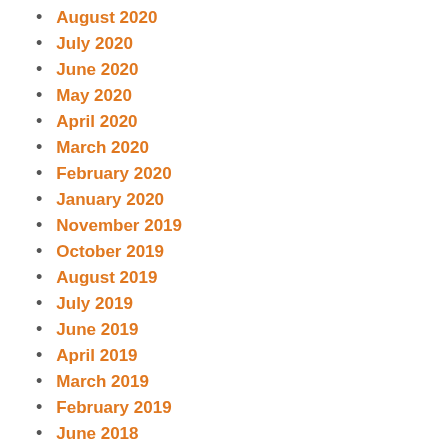August 2020
July 2020
June 2020
May 2020
April 2020
March 2020
February 2020
January 2020
November 2019
October 2019
August 2019
July 2019
June 2019
April 2019
March 2019
February 2019
June 2018